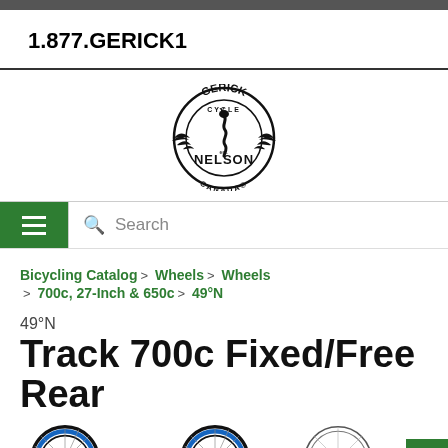1.877.GERICK1
[Figure (logo): Gerick Cycle - Nelson Canada logo, circular badge with an eagle and snake design]
Search
Bicycling Catalog > Wheels > Wheels > 700c, 27-Inch & 650c > 49°N
49°N Track 700c Fixed/Free Rear
[Figure (photo): Partial view of bicycle wheels - two colored wheels with blue rims and one outline/diagram view]